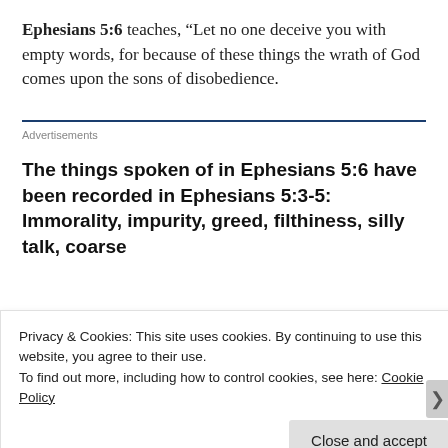Ephesians 5:6 teaches, “Let no one deceive you with empty words, for because of these things the wrath of God comes upon the sons of disobedience.
Advertisements
The things spoken of in Ephesians 5:6 have been recorded in Ephesians 5:3-5: Immorality, impurity, greed, filthiness, silly talk, coarse
Privacy & Cookies: This site uses cookies. By continuing to use this website, you agree to their use.
To find out more, including how to control cookies, see here: Cookie Policy
Close and accept